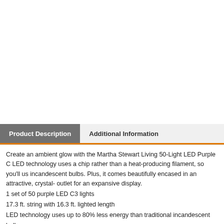[Figure (other): White empty area at the top of the page (product image area, image not visible)]
Product Description
Additional Information
Create an ambient glow with the Martha Stewart Living 50-Light LED Purple C LED technology uses a chip rather than a heat-producing filament, so you'll us incandescent bulbs. Plus, it comes beautifully encased in an attractive, crystal- outlet for an expansive display.
1 set of 50 purple LED C3 lights
17.3 ft. string with 16.3 ft. lighted length
LED technology uses up to 80% less energy than traditional incandescent bulb
Connect up to 29 sets end to end for a huge display